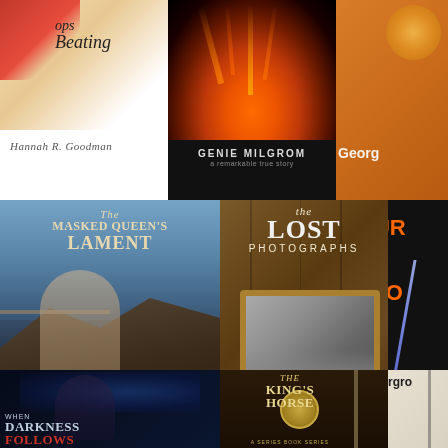[Figure (photo): Book cover collage showing multiple book covers in three rows. Top row: partial cover with 'Beating' text and 'Hannah R. Goodman' author name (white cover), volcano cover by 'GENIE MILGROM', and partial orange cover. Middle row: 'The Masked Queen's Lament' by Dylan Madeley (fantasy woman on cliff), 'the LOST PHOTOGRAPHS' by Richard Ira Carroll (wooden background with photo frame), and partial 'BUR...STO...' cover with lightning. Bottom row: 'WHEN DARKNESS FOLLOWS' (dark romantic fantasy), 'THE KING'S HORSE A Series' (steampunk/fantasy with clock), and partial 'Undergro...' cover.]